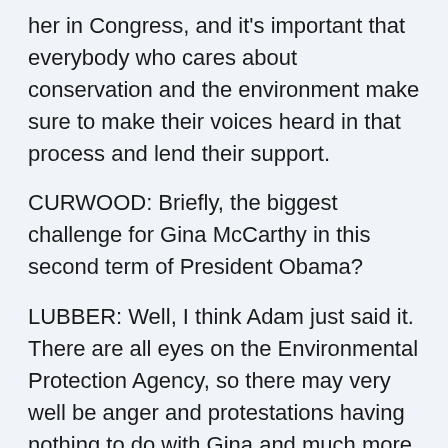her in Congress, and it's important that everybody who cares about conservation and the environment make sure to make their voices heard in that process and lend their support.
CURWOOD: Briefly, the biggest challenge for Gina McCarthy in this second term of President Obama?
LUBBER: Well, I think Adam just said it. There are all eyes on the Environmental Protection Agency, so there may very well be anger and protestations having nothing to do with Gina and much more to do with the agency. But let's just quickly understand; the EPA,while some seem to be gunning for it, is the very agency that delivers clean air and clean water to all of our families. And it ought not to be a right wing, left wing, right coast, left coast, Republican, Democrat.. We've got to turn the conversation around. The EPA's about making my kids